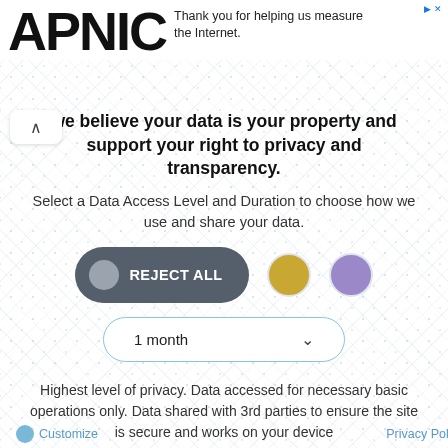APNIC — Thank you for helping us measure the Internet.
We believe your data is your property and support your right to privacy and transparency.
Select a Data Access Level and Duration to choose how we use and share your data.
[Figure (screenshot): Three buttons: REJECT ALL (dark pill with grey circle), a gold circle, and a purple circle]
[Figure (screenshot): Dropdown selector showing '1 month' with chevron arrow, light blue border rounded pill]
Highest level of privacy. Data accessed for necessary basic operations only. Data shared with 3rd parties to ensure the site is secure and works on your device
[Figure (screenshot): Blue gradient 'Save my preferences' button, wide rounded pill]
Customize    Privacy Policy